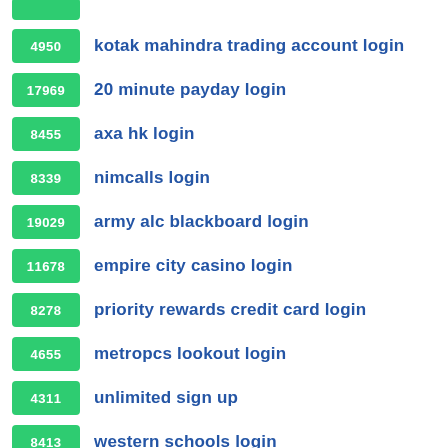4950 kotak mahindra trading account login
17969 20 minute payday login
8455 axa hk login
8339 nimcalls login
19029 army alc blackboard login
11678 empire city casino login
8278 priority rewards credit card login
4655 metropcs lookout login
4311 unlimited sign up
8413 western schools login
367 google plus problems login